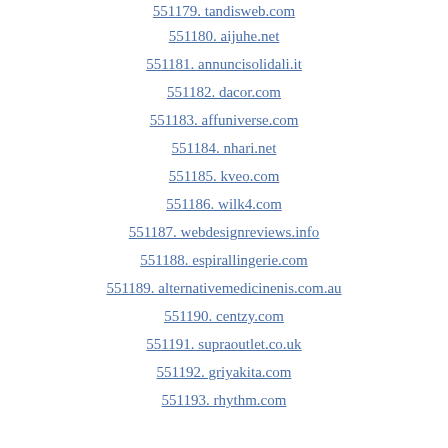551179. tandisweb.com
551180. aijuhe.net
551181. annuncisolidali.it
551182. dacor.com
551183. affuniverse.com
551184. nhari.net
551185. kveo.com
551186. wilk4.com
551187. webdesignreviews.info
551188. espirallingerie.com
551189. alternativemedicinenis.com.au
551190. centzy.com
551191. supraoutlet.co.uk
551192. griyakita.com
551193. rhythm.com